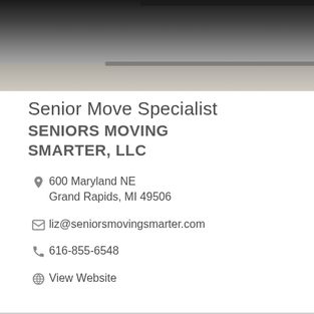[Figure (photo): Background photo of a desk/laptop area, gray and dark tones, partially visible laptop at top]
Senior Move Specialist
SENIORS MOVING SMARTER, LLC
600 Maryland NE
Grand Rapids, MI 49506
liz@seniorsmovingsmarter.com
616-855-6548
View Website